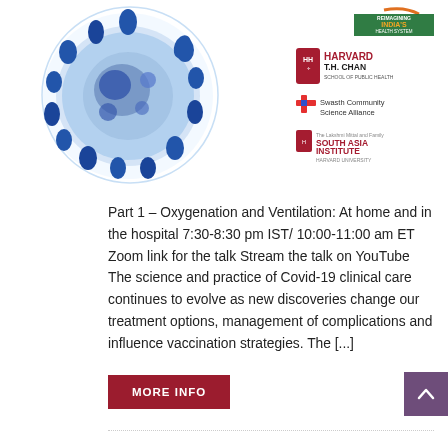[Figure (photo): Blue coronavirus particle illustration on white background, viewed from above, showing the characteristic spike proteins around the spherical surface]
[Figure (logo): Reimagining India's Health System logo]
[Figure (logo): Harvard T.H. Chan School of Public Health logo]
[Figure (logo): Swasth Community Science Alliance logo]
[Figure (logo): The Lakshmi Mittal and Family South Asia Institute Harvard University logo]
Part 1 – Oxygenation and Ventilation: At home and in the hospital 7:30-8:30 pm IST/ 10:00-11:00 am ET Zoom link for the talk Stream the talk on YouTube   The science and practice of Covid-19 clinical care continues to evolve as new discoveries change our treatment options, management of complications and influence vaccination strategies. The [...]
MORE INFO